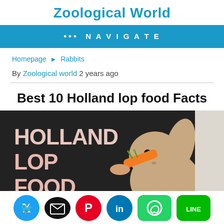Zoological World
••• NAVIGATE
Homepage ► Rabbits
By Zoological world 2 years ago
Best 10 Holland lop food Facts
[Figure (photo): Holland lop rabbit eating a carrot with text overlay reading HOLLAND LOP FOOD on a dark background]
[Figure (infographic): Row of social sharing buttons: Twitter (blue circle), Email (black oval), Pinterest (red circle), LinkedIn (blue circle), WhatsApp (green rounded rectangle), Line (green rounded rectangle)]